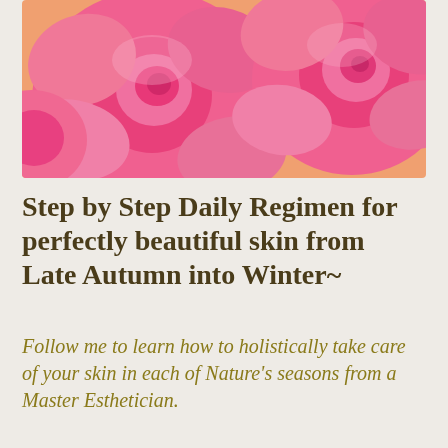[Figure (photo): Close-up photo of vibrant pink roses filling the frame]
Step by Step Daily Regimen for perfectly beautiful skin from Late Autumn into Winter~
Follow me to learn how to holistically take care of your skin in each of Nature’s seasons from a Master Esthetician.